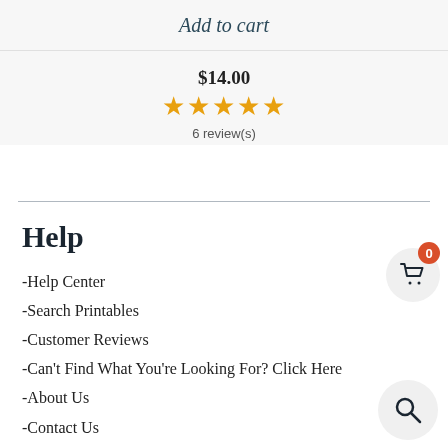Add to cart
$14.00
★★★★★
6 review(s)
Help
-Help Center
-Search Printables
-Customer Reviews
-Can't Find What You're Looking For? Click Here
-About Us
-Contact Us